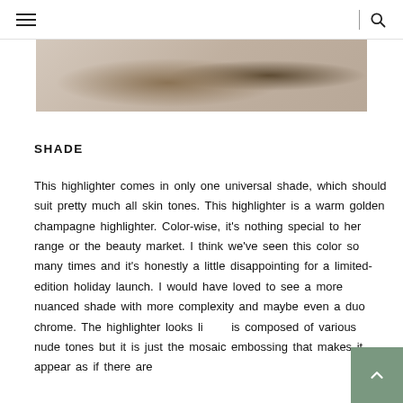Navigation header with hamburger menu and search icon
[Figure (photo): Partial view of beauty/cosmetics product on a light surface, with items including what appears to be a highlighter or makeup compact with chain/jewelry elements and branded packaging]
SHADE
This highlighter comes in only one universal shade, which should suit pretty much all skin tones. This highlighter is a warm golden champagne highlighter. Color-wise, it's nothing special to her range or the beauty market. I think we've seen this color so many times and it's honestly a little disappointing for a limited-edition holiday launch. I would have loved to see a more nuanced shade with more complexity and maybe even a duo chrome. The highlighter looks like it is composed of various nude tones but it is just the mosaic embossing that makes it appear as if there are